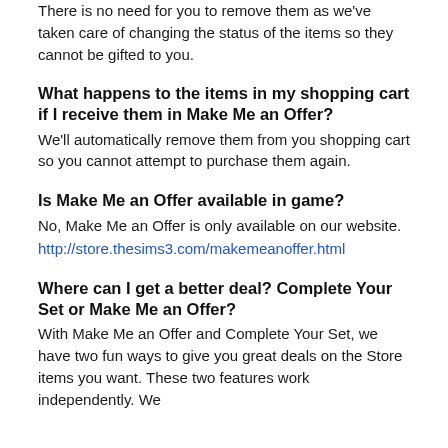There is no need for you to remove them as we've taken care of changing the status of the items so they cannot be gifted to you.
What happens to the items in my shopping cart if I receive them in Make Me an Offer?
We'll automatically remove them from you shopping cart so you cannot attempt to purchase them again.
Is Make Me an Offer available in game?
No, Make Me an Offer is only available on our website.
http://store.thesims3.com/makemeanoffer.html
Where can I get a better deal? Complete Your Set or Make Me an Offer?
With Make Me an Offer and Complete Your Set, we have two fun ways to give you great deals on the Store items you want. These two features work independently. We